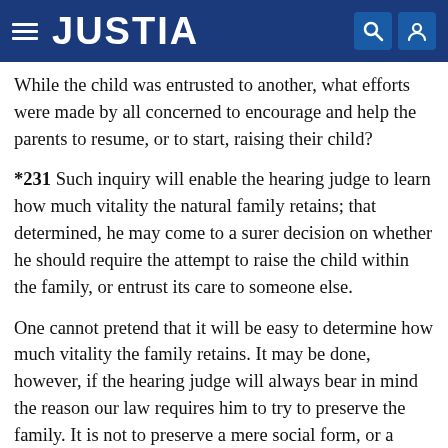JUSTIA
While the child was entrusted to another, what efforts were made by all concerned to encourage and help the parents to resume, or to start, raising their child?
*231 Such inquiry will enable the hearing judge to learn how much vitality the natural family retains; that determined, he may come to a surer decision on whether he should require the attempt to raise the child within the family, or entrust its care to someone else.
One cannot pretend that it will be easy to determine how much vitality the family retains. It may be done, however, if the hearing judge will always bear in mind the reason our law requires him to try to preserve the family. It is not to preserve a mere social form, or a convention from the past, but to provide our children a place of shelter and love, so that they may grow in